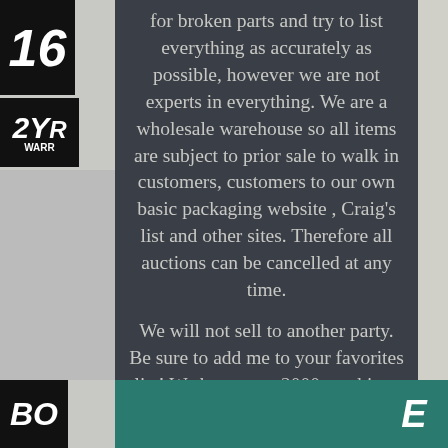for broken parts and try to list everything as accurately as possible, however we are not experts in everything. We are a wholesale warehouse so all items are subject to prior sale to walk in customers, customers to our own basic packaging website , Craig's list and other sites. Therefore all auctions can be cancelled at any time.

We will not sell to another party. Be sure to add me to your favorites list! We have over 2000 machines and 50,000 item in stock.

We specialize in Packaging Machinery, Processing equipment, Lab items, Plant Support and many other Business surplus items. The item "Unused Nordson 16' Hot Melt Adhesive Hose Model 104008B, Rectangle Plug" is in sale since Monday, August 19, 2019. This item is in the category "Business & Industrial\Adhesives, Sealants & Tapes\Adhesive Guns & Dispensers\Hot Glue Dispensers".